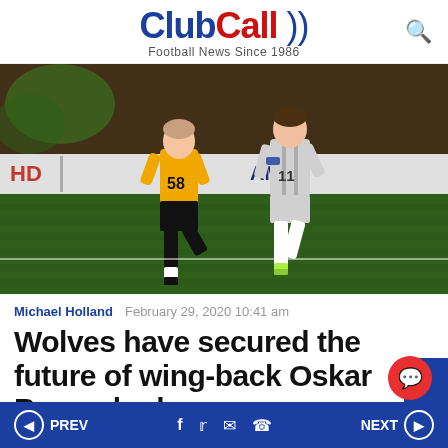ClubCall » Football News Since 1986
[Figure (photo): Two soccer players competing for the ball — one in a yellow Wolverhampton Wanderers kit (number 58) and another in a white/grey Beşiktaş kit (number 11) — on a green pitch with advertising boards in the background.]
Michael Holland   February 29, 2020 10:41 am
Wolves have secured the future of wing-back Oskar Buur who has
◀ PREV   f  🐦  ✉  📱   NEXT ▶